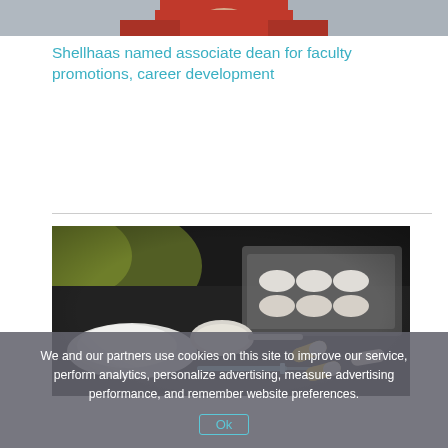[Figure (photo): Partial view of a person wearing a red jacket, cropped at the top of the page]
Shellhaas named associate dean for faculty promotions, career development
[Figure (photo): Close-up photo of drug paraphernalia on a dark surface: white powder, a spoon, a syringe, yellow and white capsule pills, and blister packs of pills in the background]
We and our partners use cookies on this site to improve our service, perform analytics, personalize advertising, measure advertising performance, and remember website preferences.
Ok